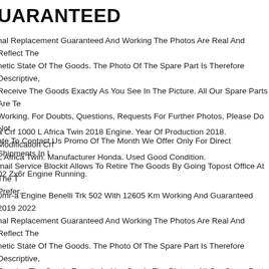UARANTEED
nal Replacement Guaranteed And Working The Photos Are Real And Reflect The netic State Of The Goods. The Photo Of The Spare Part Is Therefore Descriptive, Receive The Goods Exactly As You See In The Picture. All Our Spare Parts Are Te Working. For Doubts, Questions, Requests For Further Photos, Please Do Not ate To Contact Us Promo Of The Month We Offer Only For Direct Shipments In I mail Service Blockit Allows To Retire The Goods By Going Topost Office At The T Prefer.
a Crf 1000 L Africa Twin 2018 Engine. Year Of Production 2018. Modification Crf L Africa Twin. Manufacturer Honda. Used Good Condition.
02 Zx6r Engine Running.
0mr-a Engine Benelli Trk 502 With 12605 Km Working And Guaranteed 2019 2022 nal Replacement Guaranteed And Working The Photos Are Real And Reflect The netic State Of The Goods. The Photo Of The Spare Part Is Therefore Descriptive, Receive The Goods Exactly As You See In The Picture. All Our Spare Parts Are Te Working. For Doubts, Questions, Requests For Further Photos, Please Do Not ate To Contact Us Promo Of The Month We Offer Only For Direct Shipments In I mail Service Blockit Allows To Retire The Goods By Going Topost Office At The T Prefer Track Page Views With Auctiva's Free Counter.